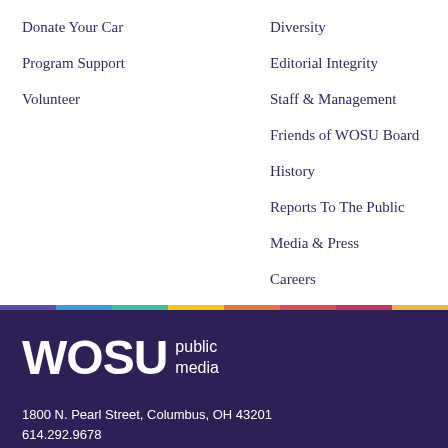Donate Your Car
Program Support
Volunteer
Diversity
Editorial Integrity
Staff & Management
Friends of WOSU Board
History
Reports To The Public
Media & Press
Careers
Privacy Policy
FAQ
[Figure (logo): WOSU public media logo in white on dark purple background]
1800 N. Pearl Street, Columbus, OH 43201
614.292.9678